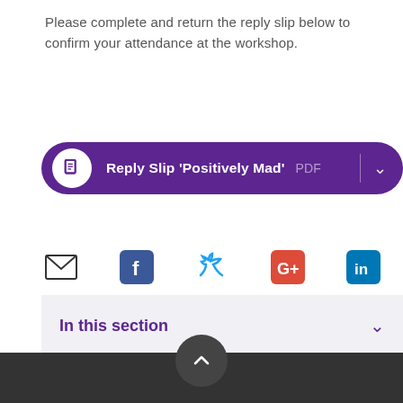Please complete and return the reply slip below to confirm your attendance at the workshop.
[Figure (other): Purple rounded button/download block showing a document icon, text 'Reply Slip ‘Positively Mad’', 'PDF' label, vertical divider, and a chevron dropdown arrow]
[Figure (infographic): Row of social sharing icons: email (envelope), Facebook, Twitter, Google+, LinkedIn]
In this section
[Figure (other): Dark footer bar with a circular scroll-to-top button containing an upward chevron]